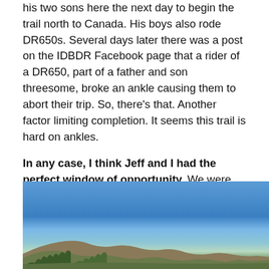his two sons here the next day to begin the trail north to Canada. His boys also rode DR650s. Several days later there was a post on the IDBDR Facebook page that a rider of a DR650, part of a father and son threesome, broke an ankle causing them to abort their trip. So, there's that. Another factor limiting completion. It seems this trail is hard on ankles.
In any case, I think Jeff and I had the perfect window of opportunity. We were happy to have finished. Although at that point, we didn't realize we had to ride another 100 miles of the Nevada BDR south of Jarbidge to get out of the canyon for our ride back east.
[Figure (photo): Outdoor landscape photograph showing a blue sky with a rocky mountain or cliff edge visible at the bottom of the frame, with some green vegetation.]